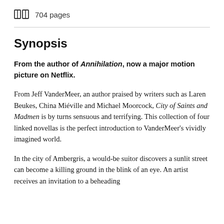704 pages
Synopsis
From the author of Annihilation, now a major motion picture on Netflix.
From Jeff VanderMeer, an author praised by writers such as Laren Beukes, China Miéville and Michael Moorcock, City of Saints and Madmen is by turns sensuous and terrifying. This collection of four linked novellas is the perfect introduction to VanderMeer's vividly imagined world.
In the city of Ambergris, a would-be suitor discovers a sunlit street can become a killing ground in the blink of an eye. An artist receives an invitation to a beheading